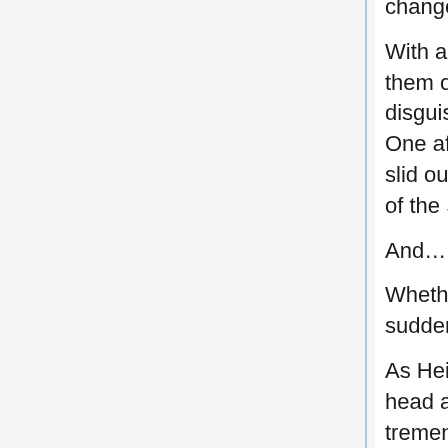changed nothing.
With a heavy rumble, the wall in front of them opened to either side. The bow of the disguised cruiser opened like a castle gate. One after another, amphibious hovercraft slid out and into the gunfire-filled battlefield of the Strait of Malacca.
And…
Whether by coincidence or design, a rocket suddenly flew into the hold.
As Heivia frantically held down Quenser's head and got on the ground himself, a tremendous shock wave spread through the enclosed space.
A dull pain exploded more in his chest than his eardrums.
“Gbh!? Cough!! H-how the hell is this a safe and simple mop-up mission!!”